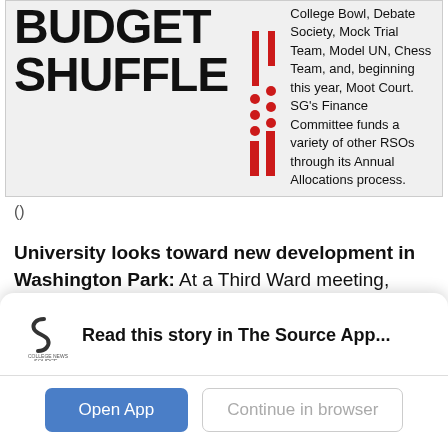[Figure (screenshot): Top card showing 'BUDGET SHUFFLE' headline in bold black text with red decorative dots and lines in center, and article text on right about SG Finance Committee funds]
0
University looks toward new development in Washington Park: At a Third Ward meeting, Artist and Visual Arts Professor Theaster Gates revealed a plan to buy several vacant lots near the Garfield Green Line station to build a park and a theater space, in addition
[Figure (screenshot): App download banner with College News Source logo, text 'Read this story in The Source App...', Open App button and Continue in browser button]